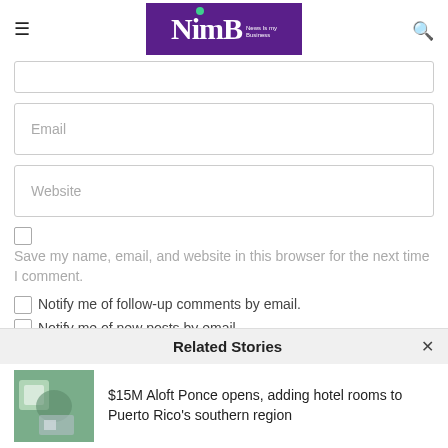NimB – News Is my Business
Email
Website
Save my name, email, and website in this browser for the next time I comment.
Notify me of follow-up comments by email.
Notify me of new posts by email.
Related Stories
$15M Aloft Ponce opens, adding hotel rooms to Puerto Rico's southern region